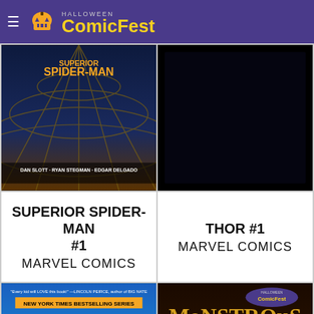Halloween ComicFest
[Figure (photo): Superior Spider-Man #1 comic book cover showing Dan Slott, Ryan Stegman, Edgar Delgado credits with dark blue and gold web imagery]
[Figure (photo): Thor #1 comic book cover - black/dark image]
SUPERIOR SPIDER-MAN #1
MARVEL COMICS
THOR #1
MARVEL COMICS
[Figure (photo): Hilo: The Boy Who Crashed to Earth - New York Times Bestselling Series graphic novel cover with boy character and glowing orbs on blue background]
[Figure (photo): Monstrous: Three Monsters and a Baby - Halloween ComicFest cover with monster characters in snow]